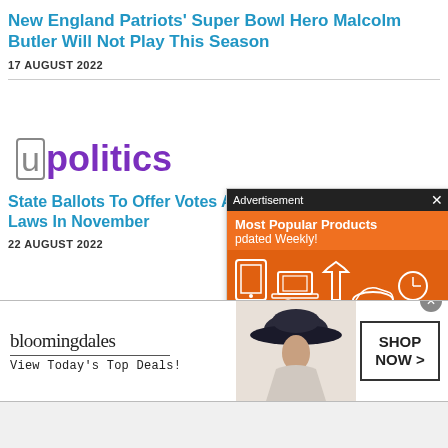New England Patriots' Super Bowl Hero Malcolm Butler Will Not Play This Season
17 AUGUST 2022
[Figure (logo): upolitics logo with stylized 'u' and purple 'politics' text]
State Ballots To Offer Voters A Chance To Change Voting Laws In November
22 AUGUST 2022
[Figure (infographic): Advertisement overlay: 'Most Popular Products Updated Weekly!' on orange background with shopping icons]
[Figure (infographic): Bloomingdale's banner ad: logo, 'View Today's Top Deals!', woman in hat, SHOP NOW button]